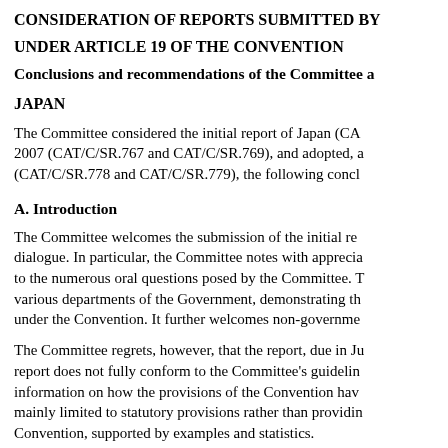CONSIDERATION OF REPORTS SUBMITTED BY
UNDER ARTICLE 19 OF THE CONVENTION
Conclusions and recommendations of the Committee a
JAPAN
The Committee considered the initial report of Japan (CA 2007 (CAT/C/SR.767 and CAT/C/SR.769), and adopted, a (CAT/C/SR.778 and CAT/C/SR.779), the following concl
A. Introduction
The Committee welcomes the submission of the initial re dialogue. In particular, the Committee notes with apprecia to the numerous oral questions posed by the Committee. T various departments of the Government, demonstrating th under the Convention. It further welcomes non-governme
The Committee regrets, however, that the report, due in Ju report does not fully conform to the Committee's guidelin information on how the provisions of the Convention hav mainly limited to statutory provisions rather than providin Convention, supported by examples and statistics.